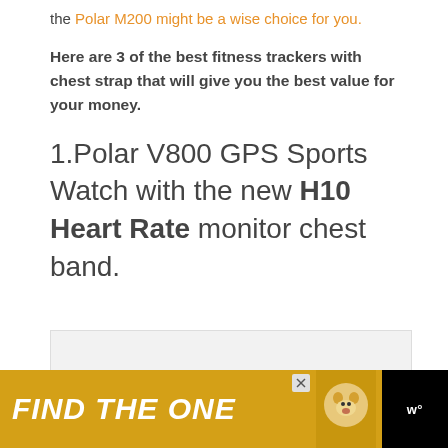the Polar M200 might be a wise choice for you.
Here are 3 of the best fitness trackers with chest strap that will give you the best value for your money.
1.Polar V800 GPS Sports Watch with the new H10 Heart Rate monitor chest band.
[Figure (other): Light gray placeholder box for an image]
[Figure (other): Advertisement banner: FIND THE ONE with dog image and Wag logo on black background]